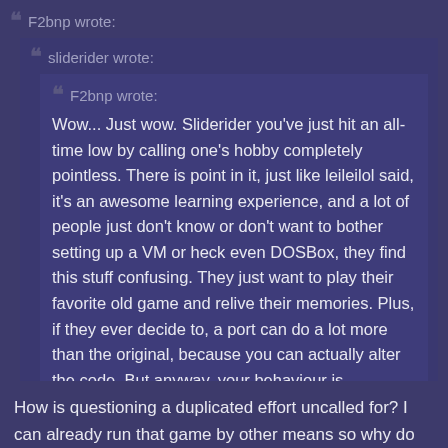F2bnp wrote:
sliderider wrote:
F2bnp wrote:
Wow... Just wow. Sliderider you've just hit an all-time low by calling one's hobby completely pointless. There is point in it, just like leileilol said, it's an awesome learning experience, and a lot of people just don't know or don't want to bother setting up a VM or heck even DOSBox, they find this stuff confusing. They just want to play their favorite old game and relive their memories. Plus, if they ever decide to, a port can do a lot more than the original, because you can actually alter the code. But anyway, your behaviour is completely uncalled for.
How is questioning a duplicated effort uncalled for? I can already run that game by other means so why do